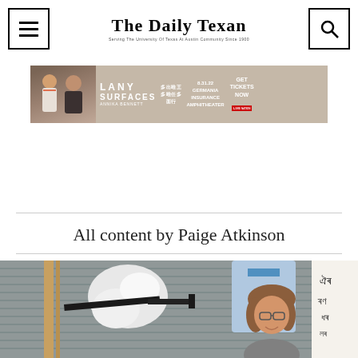The Daily Texan — Serving The University Of Texas At Austin Community Since 1900
[Figure (photo): Advertisement banner for LANY Surfaces concert with Annika Bennett, 8.31.22 at Germania Insurance Amphitheater, featuring two people posing on a tan background]
All content by Paige Atkinson
[Figure (photo): Photo of a woman with glasses and long brown hair smiling in an art studio, surrounded by paintings and art equipment including a lamp]